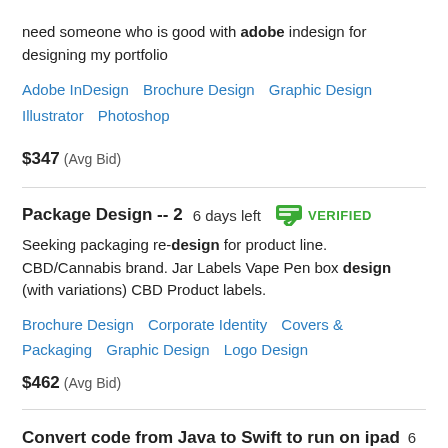need someone who is good with adobe indesign for designing my portfolio
Adobe InDesign   Brochure Design   Graphic Design   Illustrator   Photoshop
$347  (Avg Bid)
Package Design -- 2   6 days left   VERIFIED
Seeking packaging re-design for product line. CBD/Cannabis brand. Jar Labels Vape Pen box design (with variations) CBD Product labels.
Brochure Design   Corporate Identity   Covers & Packaging   Graphic Design   Logo Design
$462  (Avg Bid)
Convert code from Java to Swift to run on ipad   6